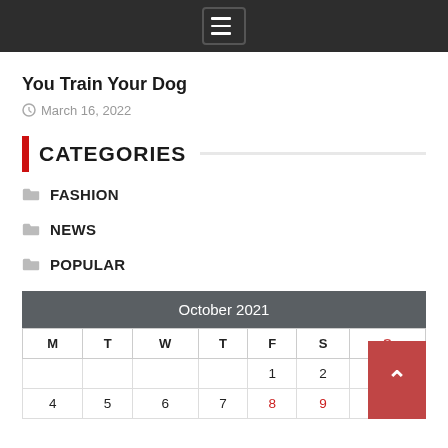menu icon / navigation bar
You Train Your Dog
March 16, 2022
CATEGORIES
FASHION
NEWS
POPULAR
| M | T | W | T | F | S | S |
| --- | --- | --- | --- | --- | --- | --- |
|  |  |  |  | 1 | 2 | 3 |
| 4 | 5 | 6 | 7 | 8 | 9 | 10 |